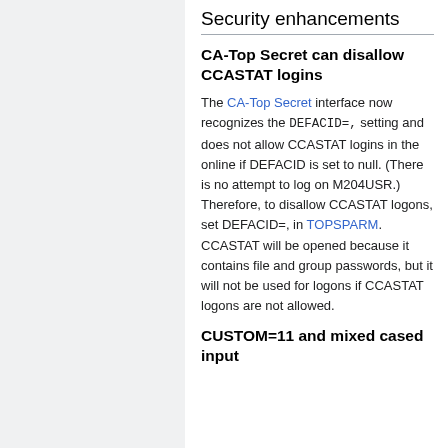Security enhancements
CA-Top Secret can disallow CCASTAT logins
The CA-Top Secret interface now recognizes the DEFACID=, setting and does not allow CCASTAT logins in the online if DEFACID is set to null. (There is no attempt to log on M204USR.) Therefore, to disallow CCASTAT logons, set DEFACID=, in TOPSPARM. CCASTAT will be opened because it contains file and group passwords, but it will not be used for logons if CCASTAT logons are not allowed.
CUSTOM=11 and mixed cased input